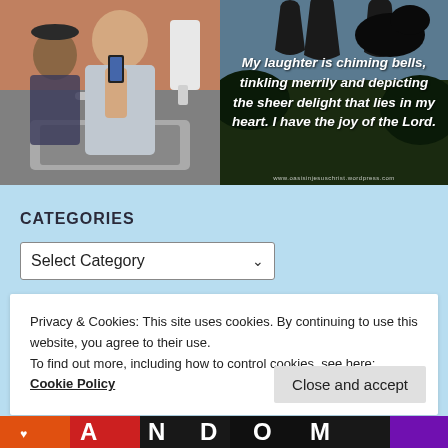[Figure (photo): Bathroom mirror selfie of a young woman with someone behind her, indoor setting with sink and soap dispenser visible]
[Figure (photo): Dark background with bells/foliage silhouette and white bold italic text quote about laughter and joy of the Lord]
CATEGORIES
Select Category
Privacy & Cookies: This site uses cookies. By continuing to use this website, you agree to their use.
To find out more, including how to control cookies, see here:
Cookie Policy
[Figure (photo): Colorful bottom banner with partial text visible, appears to say RANDOM with colorful background sections]